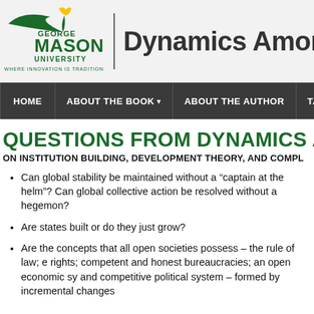George Mason University | Dynamics Among...
[Figure (logo): George Mason University logo with green torch and text: GEORGE MASON UNIVERSITY WHERE INNOVATION IS TRADITION]
Dynamics Amon
HOME | ABOUT THE BOOK ▾ | ABOUT THE AUTHOR | TABL
QUESTIONS FROM DYNAMICS AMONG
ON INSTITUTION BUILDING, DEVELOPMENT THEORY, AND COMPL
Can global stability be maintained without a “captain at the helm”? Can global collective action be resolved without a hegemon?
Are states built or do they just grow?
Are the concepts that all open societies possess – the rule of law; e rights; competent and honest bureaucracies; an open economic sy and competitive political system – formed by incremental changes